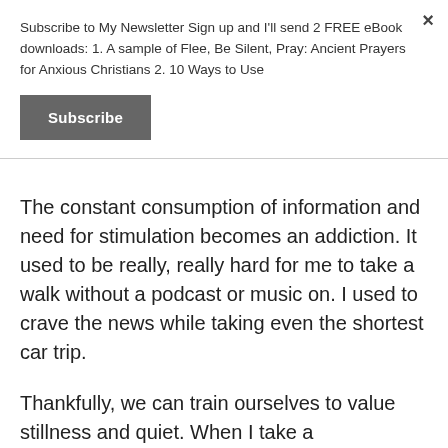Subscribe to My Newsletter Sign up and I'll send 2 FREE eBook downloads: 1. A sample of Flee, Be Silent, Pray: Ancient Prayers for Anxious Christians 2. 10 Ways to Use
Subscribe
The constant consumption of information and need for stimulation becomes an addiction. It used to be really, really hard for me to take a walk without a podcast or music on. I used to crave the news while taking even the shortest car trip.
Thankfully, we can train ourselves to value stillness and quiet. When I take a